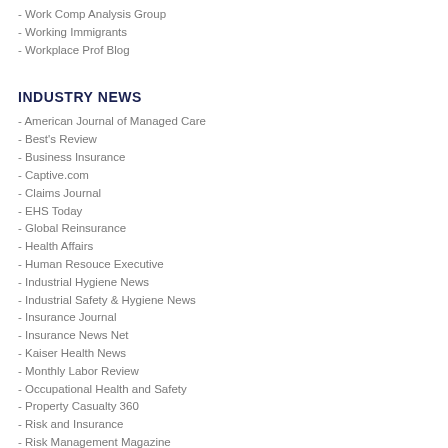- Work Comp Analysis Group
- Working Immigrants
- Workplace Prof Blog
INDUSTRY NEWS
- American Journal of Managed Care
- Best's Review
- Business Insurance
- Captive.com
- Claims Journal
- EHS Today
- Global Reinsurance
- Health Affairs
- Human Resouce Executive
- Industrial Hygiene News
- Industrial Safety & Hygiene News
- Insurance Journal
- Insurance News Net
- Kaiser Health News
- Monthly Labor Review
- Occupational Health and Safety
- Property Casualty 360
- Risk and Insurance
- Risk Management Magazine
- Risk Retention Reporter
- Rough Notes
- Safety News @ BLR
- Standard Publishing Corporation
- Workers' Comp Executive
- Work Comp Central
- WorkCompWire
- Workforce Management
INDUSTRY ORGANIZATIONS
- American Association of State